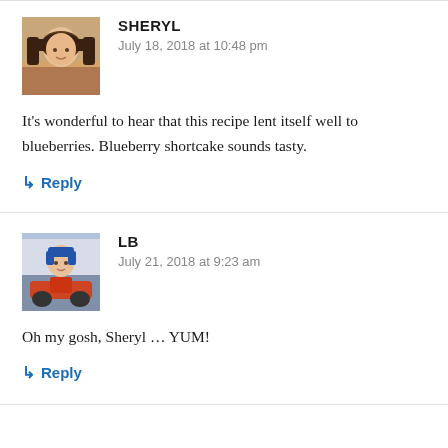[Figure (photo): Avatar photo of Sheryl, a woman with short dark hair]
SHERYL
July 18, 2018 at 10:48 pm
It's wonderful to hear that this recipe lent itself well to blueberries. Blueberry shortcake sounds tasty.
↳ Reply
[Figure (photo): Avatar photo of LB, a person on a motorcycle]
LB
July 21, 2018 at 9:23 am
Oh my gosh, Sheryl … YUM!
↳ Reply